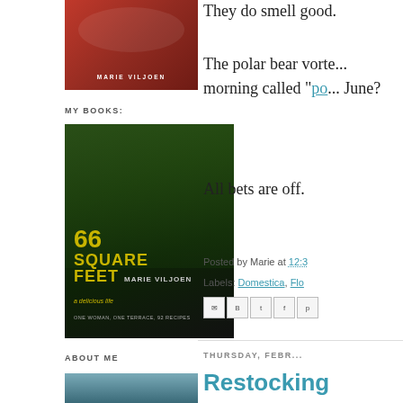[Figure (photo): Book cover showing a red plate with food, author name MARIE VILJOEN]
MY BOOKS:
[Figure (photo): Book cover for '66 Square Feet: a delicious life' by Marie Viljoen, showing a rooftop garden with plants]
ABOUT ME
[Figure (photo): About me photo, partial view]
They do smell good.
The polar bear vortex... morning called "po... June?
All bets are off.
Posted by Marie at 12:3...
Labels: Domestica, Flo...
THURSDAY, FEBR...
Restocking